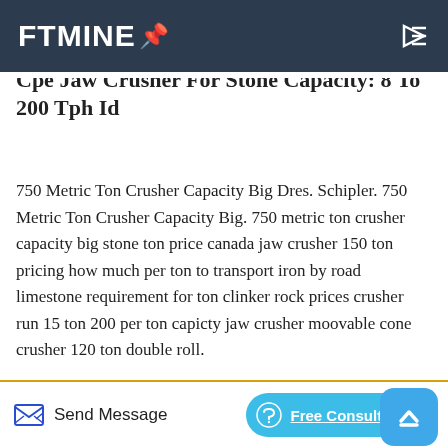FTMINE
Cpe Jaw Crusher For Stone Capacity: 8 To 200 Tph Id
750 Metric Ton Crusher Capacity Big Dres. Schipler. 750 Metric Ton Crusher Capacity Big. 750 metric ton crusher capacity big stone ton price canada jaw crusher 150 ton pricing how much per ton to transport iron by road limestone requirement for ton clinker rock prices crusher run 15 ton 200 per ton capicty jaw crusher moovable cone crusher 120 ton double roll.
[Figure (photo): Photo of industrial crushing equipment with FORUI branding watermark, showing rooftops of factory buildings]
Send Message | Free Consultation